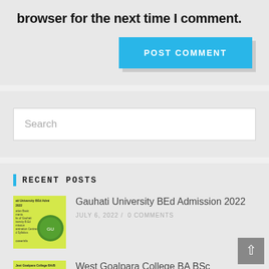browser for the next time I comment.
POST COMMENT
Search
Recent Posts
[Figure (photo): Thumbnail image for Gauhati University BEd Admission 2022 post, yellow background with green circular badge]
Gauhati University BEd Admission 2022
JULY 6, 2022 / 0 COMMENTS
[Figure (photo): Thumbnail image for West Goalpara College BA BSc post]
West Goalpara College BA BSc